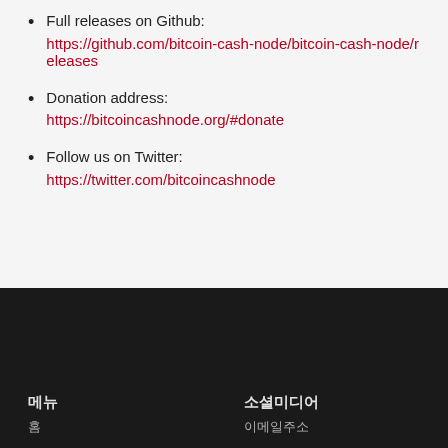Full releases on Github:
https://github.com/bitcoin-cash-node/bitcoin-cash-node/releases
Donation address:
https://bitcoincashnode.org/#donate
Follow us on Twitter:
https://twitter.com/bitcoincashnode
메뉴   소셜미디어
홈    이메일주소